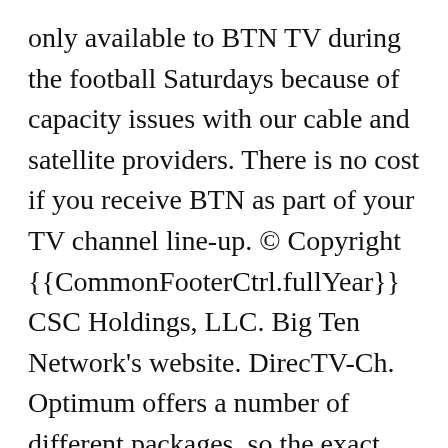only available to BTN TV during the football Saturdays because of capacity issues with our cable and satellite providers. There is no cost if you receive BTN as part of your TV channel line-up. © Copyright {{CommonFooterCtrl.fullYear}}  CSC Holdings, LLC. Big Ten Network's website. DirecTV-Ch. Optimum offers a number of different packages, so the exact number of channels will be based on your choice of package. More than 255 channels. Optimum offers a tremendous number of channels—over 420 at the time of writing. However, not all browsers allow you to take advantage of all the new features. Optimum offers a number of different packages, so the exact number of channels will be based on your choice of package. © 2007-2021 Big